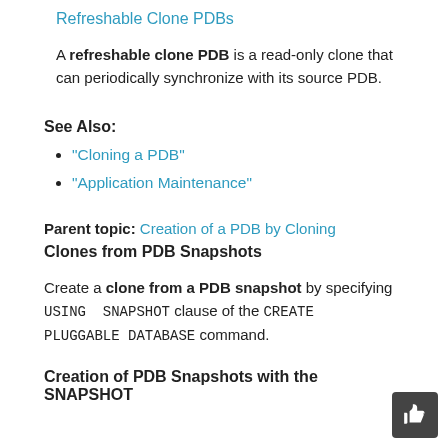Refreshable Clone PDBs
A refreshable clone PDB is a read-only clone that can periodically synchronize with its source PDB.
See Also:
"Cloning a PDB"
"Application Maintenance"
Parent topic: Creation of a PDB by Cloning
Clones from PDB Snapshots
Create a clone from a PDB snapshot by specifying USING SNAPSHOT clause of the CREATE PLUGGABLE DATABASE command.
Creation of PDB Snapshots with the SNAPSHOT